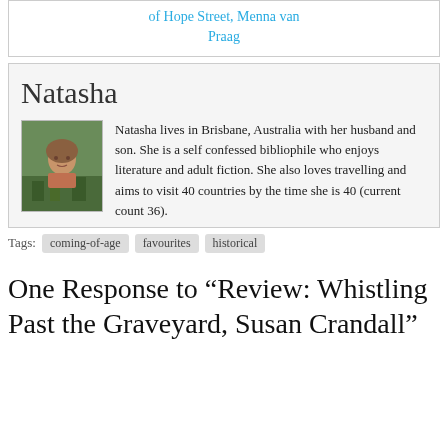of Hope Street, Menna van Praag
Natasha
[Figure (photo): Portrait photo of Natasha outdoors in a garden/field setting]
Natasha lives in Brisbane, Australia with her husband and son. She is a self confessed bibliophile who enjoys literature and adult fiction. She also loves travelling and aims to visit 40 countries by the time she is 40 (current count 36).
Tags: coming-of-age favourites historical
One Response to “Review: Whistling Past the Graveyard, Susan Crandall”